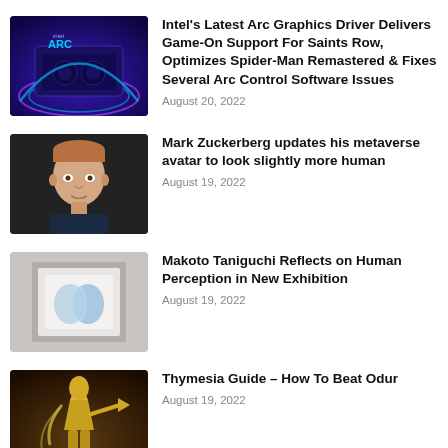[Figure (photo): Intel Arc graphics card product photo with blue/purple glowing background and 'intel ARC' text]
Intel's Latest Arc Graphics Driver Delivers Game-On Support For Saints Row, Optimizes Spider-Man Remastered & Fixes Several Arc Control Software Issues
August 20, 2022
[Figure (photo): 3D avatar of Mark Zuckerberg looking slightly more realistic, against dark grey background]
Mark Zuckerberg updates his metaverse avatar to look slightly more human
August 19, 2022
[Figure (photo): Art exhibition piece showing a white framed display with a blue heart-like figure, against a grey wall]
Makoto Taniguchi Reflects on Human Perception in New Exhibition
August 19, 2022
[Figure (photo): Game screenshot showing a golden armored character with a claw weapon from Thymesia]
Thymesia Guide – How To Beat Odur
August 19, 2022